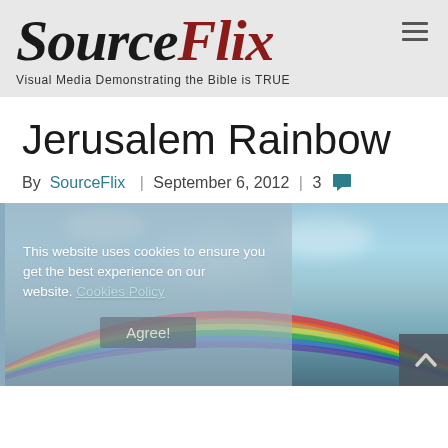SourceFlix — Visual Media Demonstrating the Bible is TRUE
Jerusalem Rainbow
By SourceFlix | September 6, 2012 | 3 comments
[Figure (photo): A rainbow photo over Jerusalem sky, partially obscured by a cookie consent overlay reading 'This website uses cookies to ensure you get the best experience on our website. Cookies Policy' with an 'Agree!' button. A back-to-top arrow button is visible at the bottom right.]